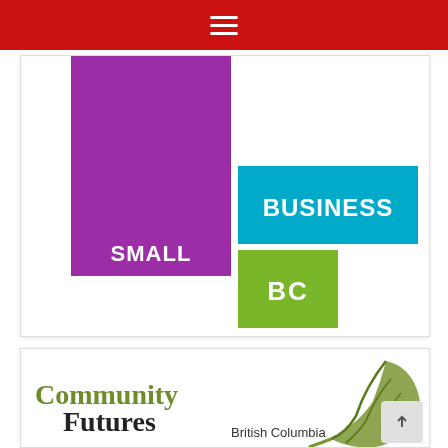[Figure (logo): Red navigation header bar with hamburger menu icon (three horizontal white lines)]
[Figure (logo): Small Business BC logo: purple square block with 'SMALL', teal/blue rectangle with 'BUSINESS', green square with 'BC']
[Figure (logo): Community Futures British Columbia logo with olive/green leaf graphic and text 'Community Futures British Columbia']